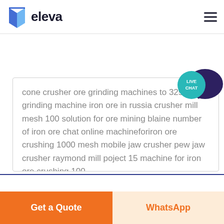[Figure (logo): Eleva company logo with blue book-like icon and bold 'eleva' text, hamburger menu icon on right]
[Figure (infographic): Live chat speech bubble icon with teal circle labeled 'LIVE CHAT' and dark purple speech bubble behind]
cone crusher ore grinding machines to 325 mesh grinding machine iron ore in russia crusher mill mesh 100 solution for ore mining blaine number of iron ore chat online machineforiron ore crushing 1000 mesh mobile jaw crusher pew jaw crusher raymond mill poject 15 machine for iron ore crushing 100
Online Service
Get a Quote
WhatsApp